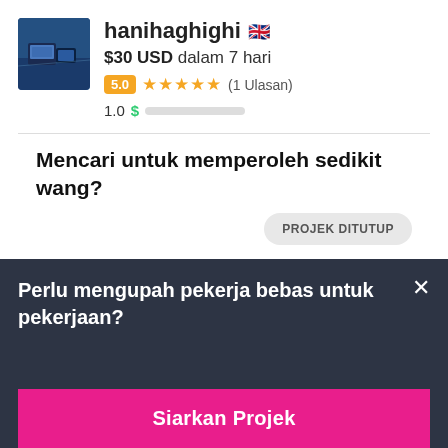[Figure (photo): Profile photo of user hanihaghighi, dark blue/tech themed image]
hanihaghighi 🇬🇧
$30 USD dalam 7 hari
5.0 ★★★★★ (1 Ulasan)
1.0 $ [progress bar]
Mencari untuk memperoleh sedikit wang?
PROJEK DITUTUP
Perlu mengupah pekerja bebas untuk pekerjaan?
Siarkan Projek